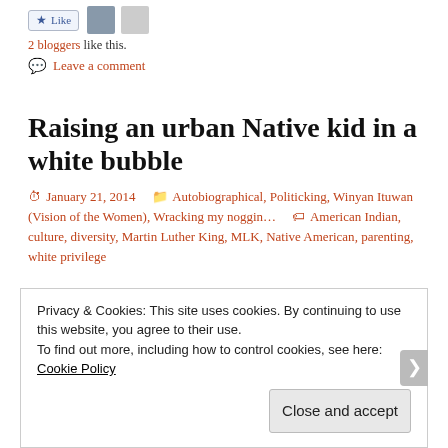2 bloggers like this.
Leave a comment
Raising an urban Native kid in a white bubble
January 21, 2014   Autobiographical, Politicking, Winyan Ituwan (Vision of the Women), Wracking my noggin...   American Indian, culture, diversity, Martin Luther King, MLK, Native American, parenting, white privilege
Privacy & Cookies: This site uses cookies. By continuing to use this website, you agree to their use. To find out more, including how to control cookies, see here: Cookie Policy
Close and accept